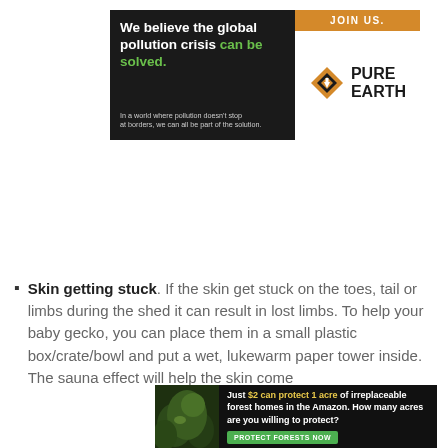[Figure (infographic): Pure Earth organization banner ad with dark left panel showing 'We believe the global pollution crisis can be solved.' tagline and white right panel with Pure Earth logo. Orange 'JOIN US.' bar at top right.]
Skin getting stuck. If the skin get stuck on the toes, tail or limbs during the shed it can result in lost limbs. To help your baby gecko, you can place them in a small plastic box/crate/bowl and put a wet, lukewarm paper tower inside. The sauna effect will help the skin come
[Figure (infographic): Amazon forest conservation banner ad: 'Just $2 can protect 1 acre of irreplaceable forest homes in the Amazon. How many acres are you willing to protect?' with green 'PROTECT FORESTS NOW' button, dark background with forest image.]